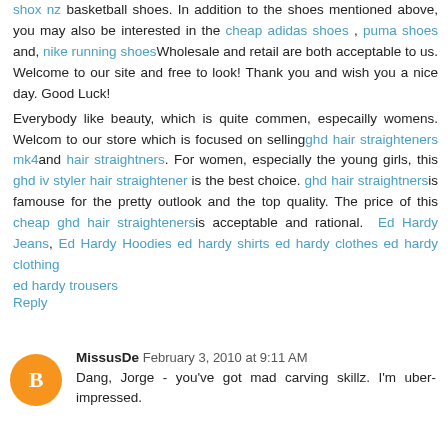shox nz basketball shoes. In addition to the shoes mentioned above, you may also be interested in the cheap adidas shoes , puma shoes and, nike running shoesWholesale and retail are both acceptable to us. Welcome to our site and free to look! Thank you and wish you a nice day. Good Luck!
Everybody like beauty, which is quite commen, especailly womens. Welcom to our store which is focused on sellingghd hair straighteners mk4and hair straightners. For women, especially the young girls, this ghd iv styler hair straightener is the best choice. ghd hair straightnersis famouse for the pretty outlook and the top quality. The price of this cheap ghd hair straightenersis acceptable and rational. Ed Hardy Jeans, Ed Hardy Hoodies ed hardy shirts ed hardy clothes ed hardy clothing ed hardy trousers
Reply
MissusDe February 3, 2010 at 9:11 AM
Dang, Jorge - you've got mad carving skillz. I'm uber-impressed.